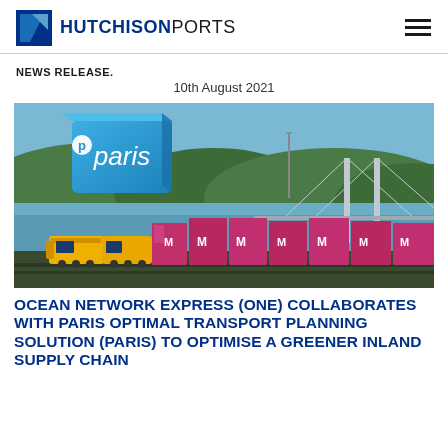HUTCHISON PORTS
NEWS RELEASE.
10th August 2021
[Figure (photo): A freight train with yellow locomotives pulling pink/magenta shipping containers labeled 'M', traveling along a coastal railway track with a suspension bridge and green hills in the background. A blue 3D cube with the word 'paris' in white text overlays the upper left of the image.]
OCEAN NETWORK EXPRESS (ONE) COLLABORATES WITH PARIS OPTIMAL TRANSPORT PLANNING SOLUTION (PARIS) TO OPTIMISE A GREENER INLAND SUPPLY CHAIN